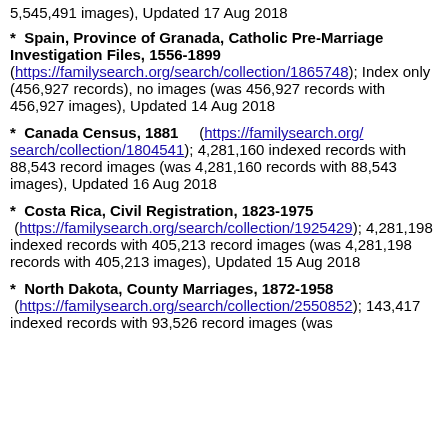5,545,491 images), Updated 17 Aug 2018
* Spain, Province of Granada, Catholic Pre-Marriage Investigation Files, 1556-1899 (https://familysearch.org/search/collection/1865748); Index only (456,927 records), no images (was 456,927 records with 456,927 images), Updated 14 Aug 2018
* Canada Census, 1881 (https://familysearch.org/search/collection/1804541); 4,281,160 indexed records with 88,543 record images (was 4,281,160 records with 88,543 images), Updated 16 Aug 2018
* Costa Rica, Civil Registration, 1823-1975 (https://familysearch.org/search/collection/1925429); 4,281,198 indexed records with 405,213 record images (was 4,281,198 records with 405,213 images), Updated 15 Aug 2018
* North Dakota, County Marriages, 1872-1958 (https://familysearch.org/search/collection/2550852); 143,417 indexed records with 93,526 record images (was